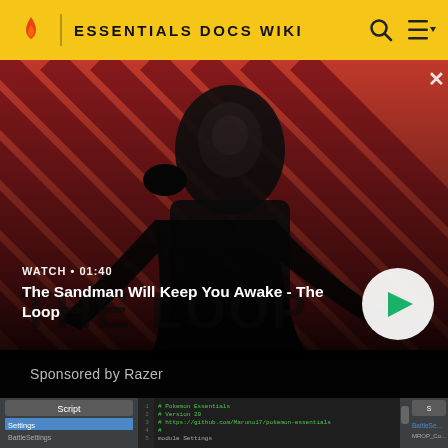ESSENTIALS DOCS WIKI
[Figure (screenshot): Video thumbnail showing a dark-dressed figure with a raven on shoulder against a red striped background. Text overlay: WATCH • 01:40, The Sandman Will Keep You Awake - The Loop. White circular play button on right.]
Sponsored by Razer
[Figure (screenshot): Code editor screenshot showing Pokemon Essentials script with green code on dark background, including Settings module. Script panel visible on left and right sides.]